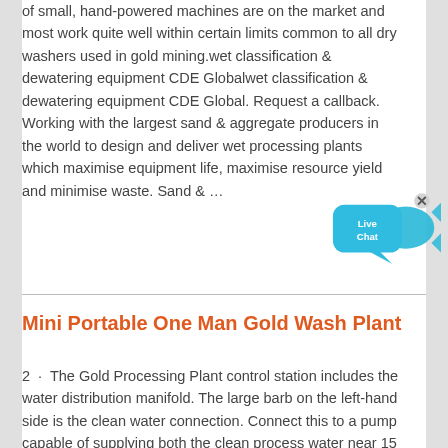of small, hand-powered machines are on the market and most work quite well within certain limits common to all dry washers used in gold mining.wet classification & dewatering equipment CDE Globalwet classification & dewatering equipment CDE Global. Request a callback. Working with the largest sand & aggregate producers in the world to design and deliver wet processing plants which maximise equipment life, maximise resource yield and minimise waste. Sand & …
[Figure (other): Live Chat button/widget — cyan speech bubble with fish shape and 'Live Chat' text, with an X close button]
Mini Portable One Man Gold Wash Plant
2 · The Gold Processing Plant control station includes the water distribution manifold. The large barb on the left-hand side is the clean water connection. Connect this to a pump capable of supplying both the clean process water near 15 L/M and the slurry water near 77 L/m (to make 30% solids at 2 tph) at 15 psi.Gold Processing | Equipment, Process Flow, Cases - JXSC ...2019-8-22 · Gold flotation. Flotation process is widely used for lode gold processing. In most cases, the flotation method has a good effect in sulfide-